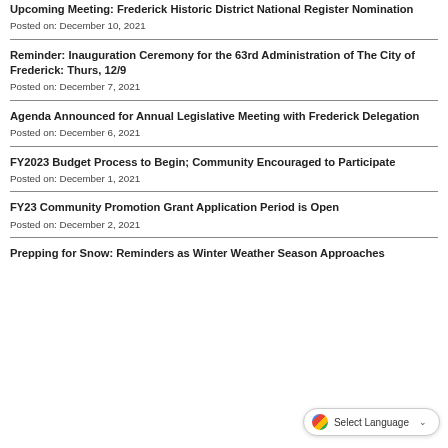Upcoming Meeting: Frederick Historic District National Register Nomination
Posted on: December 10, 2021
Reminder: Inauguration Ceremony for the 63rd Administration of The City of Frederick: Thurs, 12/9
Posted on: December 7, 2021
Agenda Announced for Annual Legislative Meeting with Frederick Delegation
Posted on: December 6, 2021
FY2023 Budget Process to Begin; Community Encouraged to Participate
Posted on: December 1, 2021
FY23 Community Promotion Grant Application Period is Open
Posted on: December 2, 2021
Prepping for Snow: Reminders as Winter Weather Season Approaches